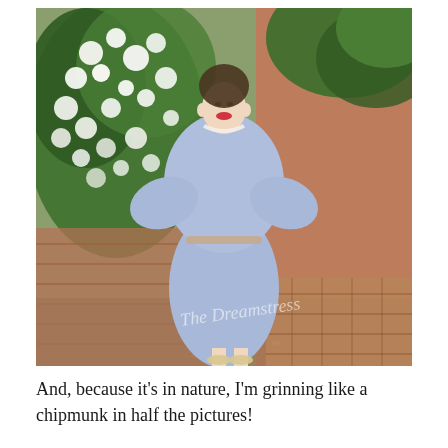[Figure (photo): A smiling woman with red lipstick wearing a light blue peasant-style dress with a thin belt and pearl necklace, standing in front of white flowering bushes against a brick wall and green hedge. She is wearing strappy sandals. A watermark reads 'The Dreamstress'. Brick paving is visible on the right side.]
And, because it's in nature, I'm grinning like a chipmunk in half the pictures!